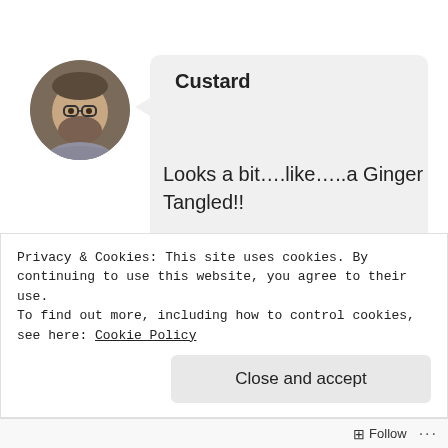[Figure (photo): Circular avatar photo of a man with glasses and a beard, wearing a gray top.]
Custard
Looks a bit….like…..a Ginger Tangled!!

Sounds cool, you can never fail with Pixar, and having a true scottish cast
Privacy & Cookies: This site uses cookies. By continuing to use this website, you agree to their use.
To find out more, including how to control cookies, see here: Cookie Policy
Close and accept
Follow